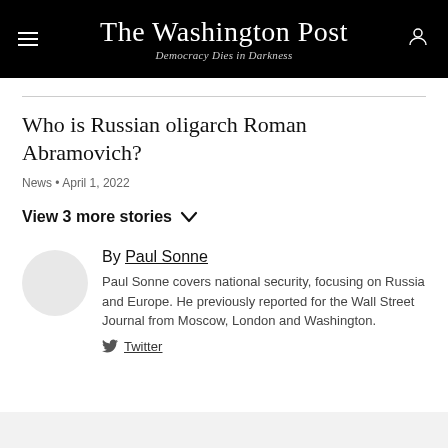The Washington Post — Democracy Dies in Darkness
Who is Russian oligarch Roman Abramovich?
News • April 1, 2022
View 3 more stories
By Paul Sonne
Paul Sonne covers national security, focusing on Russia and Europe. He previously reported for the Wall Street Journal from Moscow, London and Washington.
Twitter